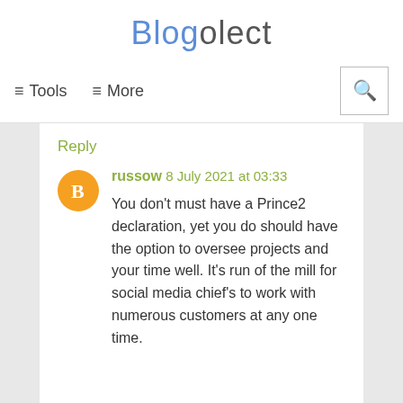Blogolect
≡ Tools   ≡ More
Reply
russow  8 July 2021 at 03:33
You don't must have a Prince2 declaration, yet you do should have the option to oversee projects and your time well. It's run of the mill for social media chief's to work with numerous customers at any one time.